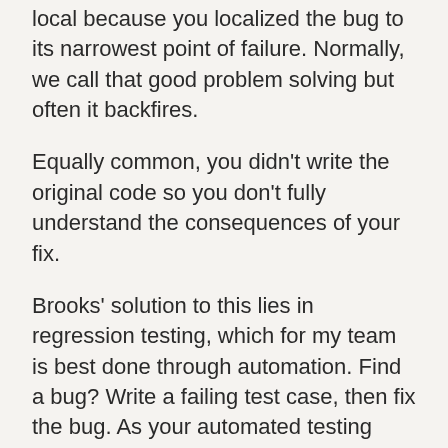First, the fix you applied is probably local because you localized the bug to its narrowest point of failure. Normally, we call that good problem solving but often it backfires.
Equally common, you didn't write the original code so you don't fully understand the consequences of your fix.
Brooks' solution to this lies in regression testing, which for my team is best done through automation. Find a bug? Write a failing test case, then fix the bug. As your automated testing suite grows, so decreases the likelihood of fixes causing regressions.